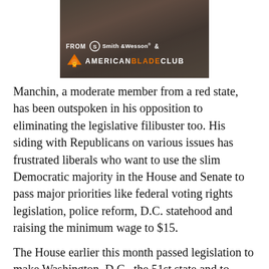[Figure (photo): Advertisement image showing a close-up of what appears to be a hand holding a knife/blade, with text overlay reading 'FROM Smith & Wesson & AMERICANBLADECLUB' with orange and white branding.]
Manchin, a moderate member from a red state, has been outspoken in his opposition to eliminating the legislative filibuster too. His siding with Republicans on various issues has frustrated liberals who want to use the slim Democratic majority in the House and Senate to pass major priorities like federal voting rights legislation, police reform, D.C. statehood and raising the minimum wage to $15.
The House earlier this month passed legislation to make Washington, D.C., the 51st state and to grant its roughly 700,000 residents full representation in Congress. The